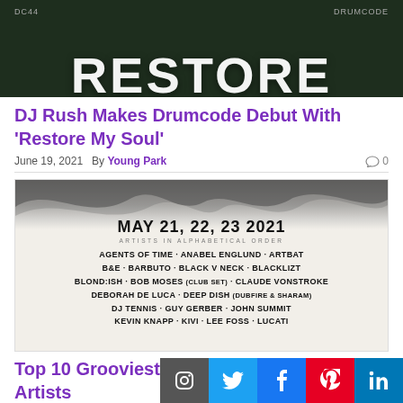[Figure (photo): Dark green/black background with large white text reading RESTORE, with DC44 and DRUMCODE labels]
DJ Rush Makes Drumcode Debut With 'Restore My Soul'
June 19, 2021  By Young Park  0
[Figure (photo): Music festival flyer for Seismic 3.3, MAY 21, 22, 23 2021, with artist lineup including Agents of Time, Anabel Englund, Artbat, B&E, Barbuto, Black V Neck, Blacklizt, Blond:ish, Bob Moses (Club Set), Claude Vonstroke, Deborah De Luca, Deep Dish (Dubfire & Sharam), DJ Tennis, Guy Gerber, John Summit, Kevin Knapp, Kivi, Lee Foss, Lucati]
Top 10 Grooviest Tracks From Seismic 3.3 Artists
June 12, 2021  By Young Park